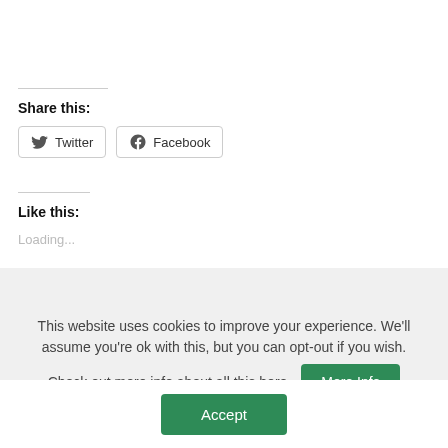Share this:
[Figure (other): Twitter and Facebook share buttons with icons]
Like this:
Loading...
This website uses cookies to improve your experience. We'll assume you're ok with this, but you can opt-out if you wish. Check out more info about all this here. More Info
Accept